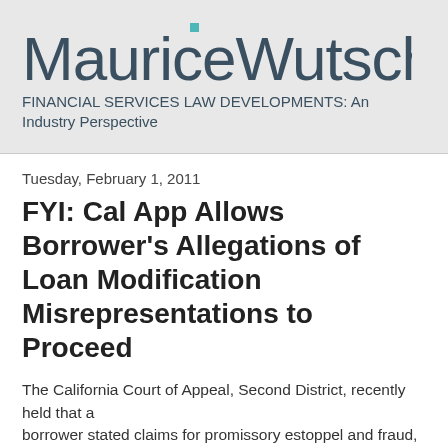MauriceWutscher
FINANCIAL SERVICES LAW DEVELOPMENTS: An Industry Perspective
Tuesday, February 1, 2011
FYI: Cal App Allows Borrower's Allegations of Loan Modification Misrepresentations to Proceed
The California Court of Appeal, Second District, recently held that a borrower stated claims for promissory estoppel and fraud, in connection with alleged loan modification representations. However, the Court